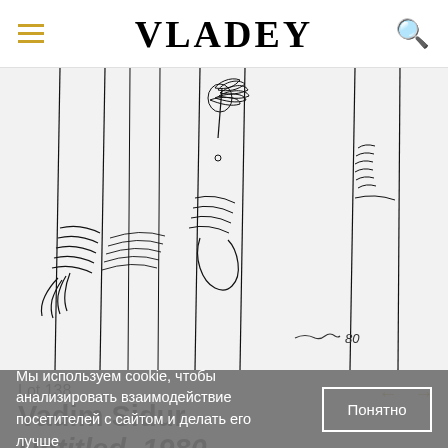VLADEY
[Figure (illustration): Line drawing artwork showing abstract human figures with hands holding foliage, signed with cursive signature and '80', ink on paper style, minimalist line art on white/light grey background]
Lot 138
Vadim Sidur
Untitled. 1980
Ink on paper
30,5 x 23 cm
Мы используем cookie, чтобы анализировать взаимодействие посетителей с сайтом и делать его лучше
Понятно